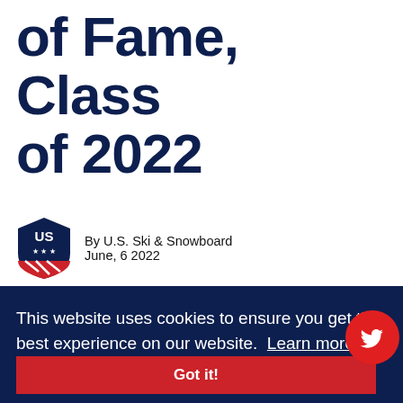of Fame, Class of 2022
By U.S. Ski & Snowboard
June, 6 2022
This website uses cookies to ensure you get the best experience on our website. Learn more
Got it!